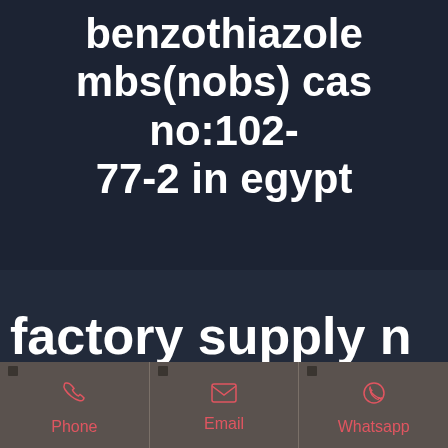benzothiazole mbs(nobs) cas no:102-77-2 in egypt
factory supply n
Phone
Email
Whatsapp